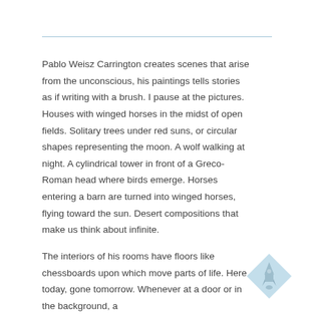Pablo Weisz Carrington creates scenes that arise from the unconscious, his paintings tells stories as if writing with a brush. I pause at the pictures. Houses with winged horses in the midst of open fields. Solitary trees under red suns, or circular shapes representing the moon. A wolf walking at night. A cylindrical tower in front of a Greco-Roman head where birds emerge. Horses entering a barn are turned into winged horses, flying toward the sun. Desert compositions that make us think about infinite.
The interiors of his rooms have floors like chessboards upon which move parts of life. Here today, gone tomorrow. Whenever at a door or in the background, a
[Figure (logo): A light blue diamond shape with a white rocket or arrow pointing upward inside it]